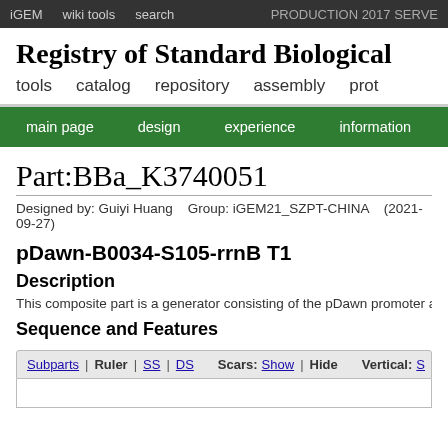iGEM   wiki tools   search   PRODUCTION 2017 SERVER
Registry of Standard Biological
tools   catalog   repository   assembly   prot
main page   design   experience   information
Part:BBa_K3740051
Designed by: Guiyi Huang   Group: iGEM21_SZPT-CHINA   (2021-09-27)
pDawn-B0034-S105-rrnB T1
Description
This composite part is a generator consisting of the pDawn promoter and
Sequence and Features
Subparts | Ruler | SS | DS   Scars: Show | Hide   Vertical: S